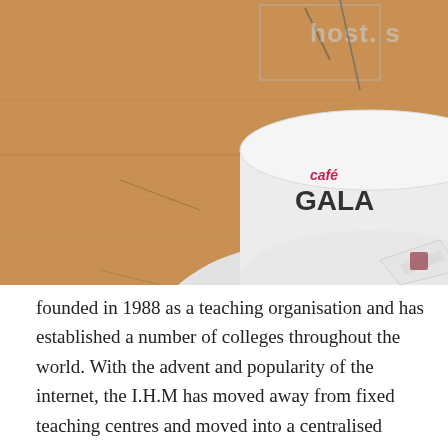[Figure (photo): Close-up photograph of a white coffee cup on a saucer sitting on a wooden table. The cup has 'café GALA' printed on it in red and black text. A sugar packet is visible on the saucer. There is a semi-transparent overlay with text 'host. s' partially visible in the upper right corner.]
founded in 1988 as a teaching organisation and has established a number of colleges throughout the world. With the advent and popularity of the internet, the I.H.M has moved away from fixed teaching centres and moved into a centralised